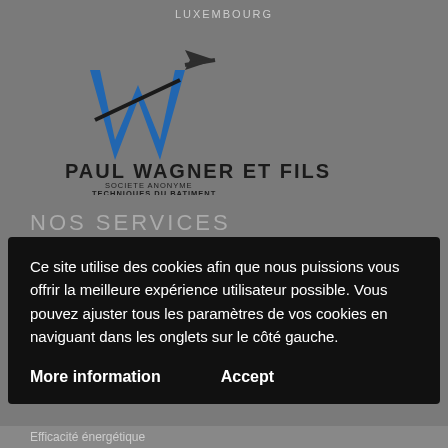LUXEMBOURG
[Figure (logo): Paul Wagner et Fils logo: blue stylized W with arrow, company name PAUL WAGNER ET FILS, SOCIETE ANONYME, TECHNIQUES DU BATIMENT]
NOS SERVICES
Ce site utilise des cookies afin que nous puissions vous offrir la meilleure expérience utilisateur possible. Vous pouvez ajuster tous les paramètres de vos cookies en naviguant dans les onglets sur le côté gauche.
More information
Accept
Efficacité énergétique